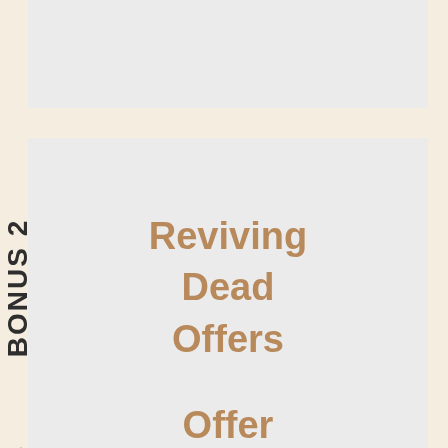[Figure (illustration): Top section block partially visible at top of page with dark tab marker]
BONUS 2
Reviving Dead Offers
BONUS 3
Offer Assets